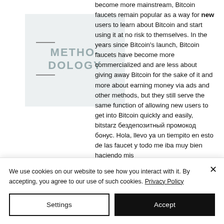[Figure (other): Watermark box with 'METHODOLOGY' text and two horizontal lines, light blue-gray background]
become more mainstream, Bitcoin faucets remain popular as a way for new users to learn about Bitcoin and start using it at no risk to themselves. In the years since Bitcoin's launch, Bitcoin faucets have become more commercialized and are less about giving away Bitcoin for the sake of it and more about earning money via ads and other methods, but they still serve the same function of allowing new users to get into Bitcoin quickly and easily, bitstarz бездепозитный промокод бонус. Hola, llevo ya un tiempito en esto de las faucet y todo me iba muy bien haciendo mis
We use cookies on our website to see how you interact with it. By accepting, you agree to our use of such cookies. Privacy Policy
Settings
Accept